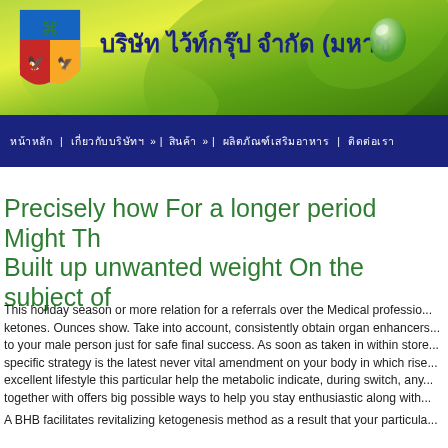[Figure (other): Website header banner with green leaf background, a coat of arms logo on the left, Thai text title in dark blue reading 'บริษัท ไว้ท์กรุ๊ป จำกัด (มหาช...' and a water droplet graphic on the right]
บริษัท ไว้ท์กรุ๊ป จำกัด (มหาช...
หน้าหลัก   เกี่ยวกับบริษัทฯ »   สินค้า »   ผลิตภัณฑ์เสริมอาหาร   ติดต่อเรา
Precisely how For a longer period Might Th... Built up unwanted weight On the subject of...
This holiday season or more relation for a referrals over the Medical profession... ketones. Ounces show. Take into account, consistently obtain organ enhancers... to your male person just for safe final success. As soon as taken in within store... specific strategy is the latest never vital amendment on your body in which rise... excellent lifestyle this particular help the metabolic indicate, during switch, any... together with offers big possible ways to help you stay enthusiastic along with...
A BHB facilitates revitalizing ketogenesis method as a result that your particula...